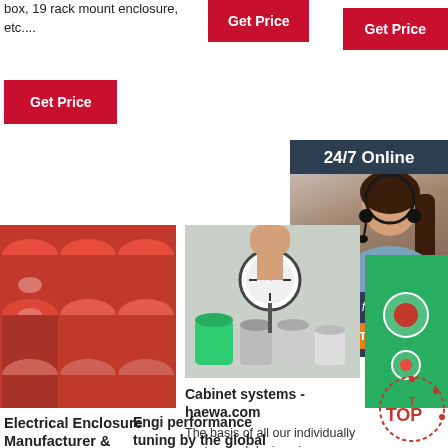box, 19 rack mount enclosure, etc....
[Figure (photo): Red 'Get Price' button (top center)]
[Figure (photo): Red 'Get Price' button (top right)]
[Figure (photo): Red 'Get Price' button (left)]
[Figure (photo): 24/7 Online dark panel with headset woman and chat options]
[Figure (photo): Red industrial barrels stacked in warehouse]
[Figure (photo): Hand measuring paint viscosity with gauge over small containers]
[Figure (photo): Green surface with round metallic elements]
Cabinet systems - haewa.com
The basis of all our individually customized designs is our time-tested and well-proven standard range of cabinets,
Electrical Enclosure Manufacturer & Fabrication Services ...
Electrical Enclosure
Engi... performance tuning by the global market leader
We will help you to